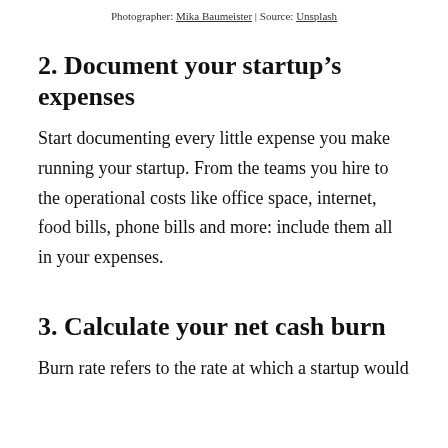Photographer: Mika Baumeister | Source: Unsplash
2. Document your startup’s expenses
Start documenting every little expense you make running your startup. From the teams you hire to the operational costs like office space, internet, food bills, phone bills and more: include them all in your expenses.
3. Calculate your net cash burn
Burn rate refers to the rate at which a startup would